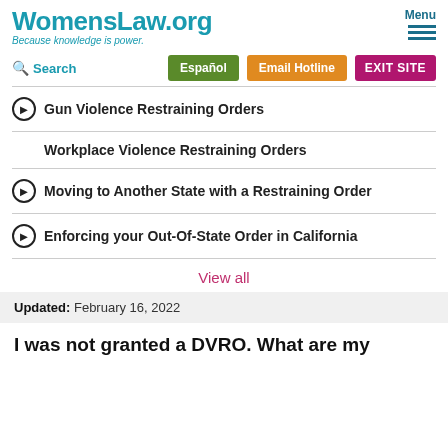WomensLaw.org — Because knowledge is power.
Gun Violence Restraining Orders
Workplace Violence Restraining Orders
Moving to Another State with a Restraining Order
Enforcing your Out-Of-State Order in California
View all
Updated: February 16, 2022
I was not granted a DVRO. What are my